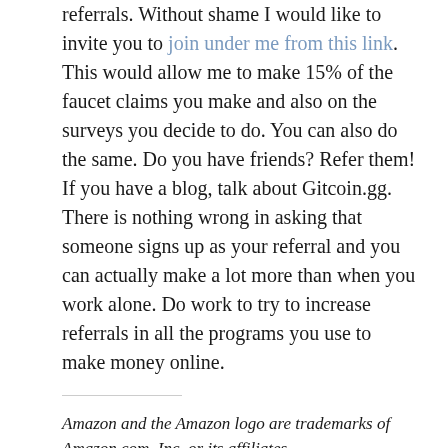referrals. Without shame I would like to invite you to join under me from this link. This would allow me to make 15% of the faucet claims you make and also on the surveys you decide to do. You can also do the same. Do you have friends? Refer them! If you have a blog, talk about Gitcoin.gg. There is nothing wrong in asking that someone signs up as your referral and you can actually make a lot more than when you work alone. Do work to try to increase referrals in all the programs you use to make money online.
Amazon and the Amazon logo are trademarks of Amazon.com, Inc, or its affiliates.